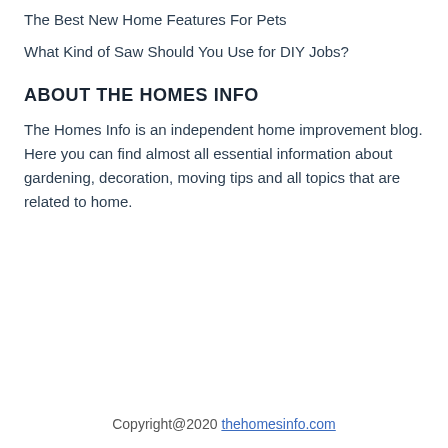The Best New Home Features For Pets
What Kind of Saw Should You Use for DIY Jobs?
ABOUT THE HOMES INFO
The Homes Info is an independent home improvement blog. Here you can find almost all essential information about gardening, decoration, moving tips and all topics that are related to home.
Copyright@2020 thehomesinfo.com